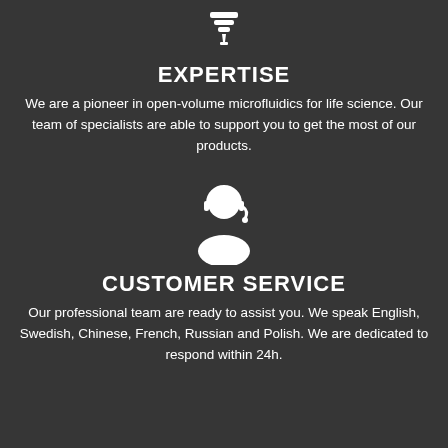[Figure (illustration): White lightbulb/filter icon at the top center of the page]
EXPERTISE
We are a pioneer in open-volume microfluidics for life science. Our team of specialists are able to support you to get the most of our products.
[Figure (illustration): White customer service / headset person icon in the center of the page]
CUSTOMER SERVICE
Our professional team are ready to assist you. We speak English, Swedish, Chinese, French, Russian and Polish. We are dedicated to respond within 24h.